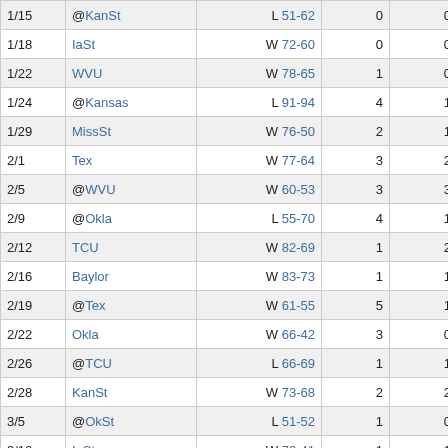| 1/15 | @KanSt | L 51-62 | 0 | 0 | 0 |
| 1/18 | IaSt | W 72-60 | 0 | 0 | 2 |
| 1/22 | WVU | W 78-65 | 1 | 0 | 1 |
| 1/24 | @Kansas | L 91-94 | 4 | 1 | 5 |
| 1/29 | MissSt | W 76-50 | 2 | 1 | 12 |
| 2/1 | Tex | W 77-64 | 3 | 2 | 5 |
| 2/5 | @WVU | W 60-53 | 3 | 3 | 2 |
| 2/9 | @Okla | L 55-70 | 4 | 1 | 2 |
| 2/12 | TCU | W 82-69 | 1 | 2 | 2 |
| 2/16 | Baylor | W 83-73 | 1 | 1 | 2 |
| 2/19 | @Tex | W 61-55 | 5 | 1 | 0 |
| 2/22 | Okla | W 66-42 | 3 | 0 | 2 |
| 2/26 | @TCU | L 66-69 | 1 | 1 | 0 |
| 2/28 | KanSt | W 73-68 | 2 | 2 | 2 |
| 3/5 | @OkSt | L 51-52 | 1 | 0 | 0 |
| 3/10 | IaSt | W 72-41 | 1 | 1 | 0 |
| 3/11 | Okla | W 56-55 | 0 | 0 | 0 |
| 3/12 | @Kansas | L 65-74 | 1 | 3 | 0 |